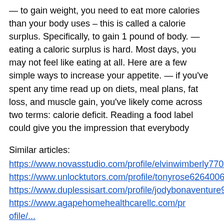— to gain weight, you need to eat more calories than your body uses – this is called a calorie surplus. Specifically, to gain 1 pound of body. — eating a caloric surplus is hard. Most days, you may not feel like eating at all. Here are a few simple ways to increase your appetite. — if you've spent any time read up on diets, meal plans, fat loss, and muscle gain, you've likely come across two terms: calorie deficit. Reading a food label could give you the impression that everybody
Similar articles:
https://www.novasstudio.com/profile/elvinwimberly7709592/profile https://www.unlocktutors.com/profile/tonyrose6264006/profile https://www.duplessisart.com/profile/jodybonaventure9914186/profile https://www.agapehomehealthcarellc.com/profile/...